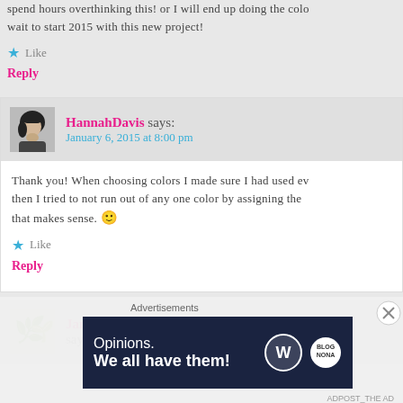spend hours overthinking this! or I will end up doing the col… wait to start 2015 with this new project!
★ Like
Reply
HannahDavis says:
January 6, 2015 at 8:00 pm
Thank you! When choosing colors I made sure I had used ev… then I tried to not run out of any one color by assigning the… that makes sense. 🙂
★ Like
Reply
Janet Hill says:
Advertisements
[Figure (screenshot): WordPress advertisement banner: 'Opinions. We all have them!' with WordPress logo and another circular logo on dark navy background]